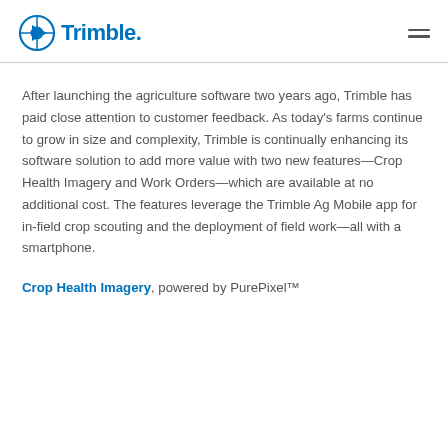Trimble
After launching the agriculture software two years ago, Trimble has paid close attention to customer feedback. As today's farms continue to grow in size and complexity, Trimble is continually enhancing its software solution to add more value with two new features—Crop Health Imagery and Work Orders—which are available at no additional cost. The features leverage the Trimble Ag Mobile app for in-field crop scouting and the deployment of field work—all with a smartphone.
Crop Health Imagery, powered by PurePixel™